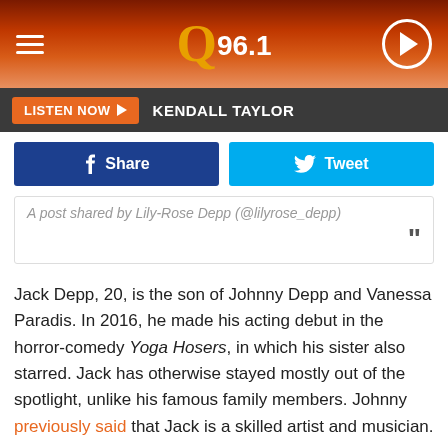Q96.1
LISTEN NOW  KENDALL TAYLOR
[Figure (screenshot): Facebook Share button and Twitter Tweet button side by side]
A post shared by Lily-Rose Depp (@lilyrose_depp)
Jack Depp, 20, is the son of Johnny Depp and Vanessa Paradis. In 2016, he made his acting debut in the horror-comedy Yoga Hosers, in which his sister also starred. Jack has otherwise stayed mostly out of the spotlight, unlike his famous family members. Johnny previously said that Jack is a skilled artist and musician.
CELEBS WHO KEPT THEIR CHILDREN